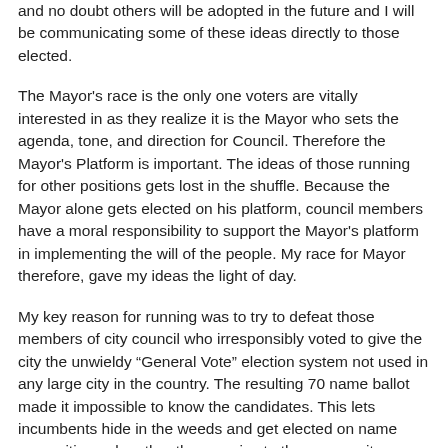and no doubt others will be adopted in the future and I will be communicating some of these ideas directly to those elected.
The Mayor’s race is the only one voters are vitally interested in as they realize it is the Mayor who sets the agenda, tone, and direction for Council. Therefore the Mayor’s Platform is important. The ideas of those running for other positions gets lost in the shuffle. Because the Mayor alone gets elected on his platform, council members have a moral responsibility to support the Mayor’s platform in implementing the will of the people. My race for Mayor therefore, gave my ideas the light of day.
My key reason for running was to try to defeat those members of city council who irresponsibly voted to give the city the unwieldy “General Vote” election system not used in any large city in the country. The resulting 70 name ballot made it impossible to know the candidates. This lets incumbents hide in the weeds and get elected on name recognition only rather than service to the community.
Of the seven council members supporting the